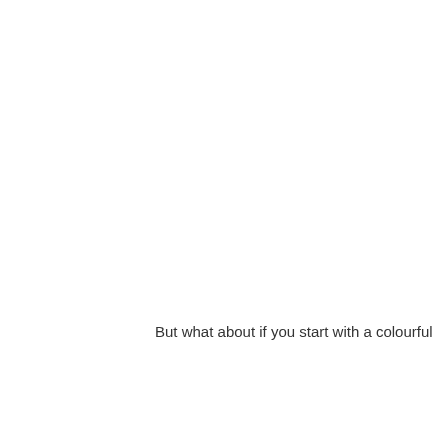But what about if you start with a colourful